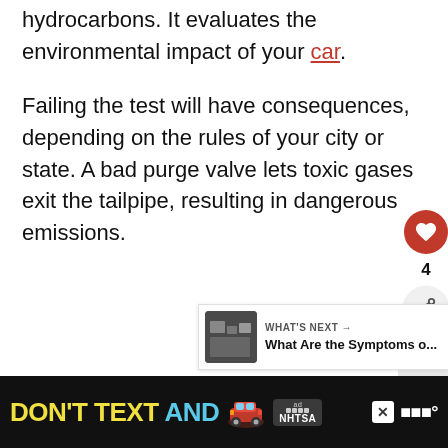hydrocarbons. It evaluates the environmental impact of your car.
Failing the test will have consequences, depending on the rules of your city or state. A bad purge valve lets toxic gases exit the tailpipe, resulting in dangerous emissions.
[Figure (screenshot): Social interaction panel with heart/like button showing count of 4, and a share button]
[Figure (screenshot): What's Next panel showing a thumbnail image and link to 'What Are the Symptoms o...']
[Figure (screenshot): NHTSA advertisement banner with text DON'T TEXT AND with car emoji on black background]